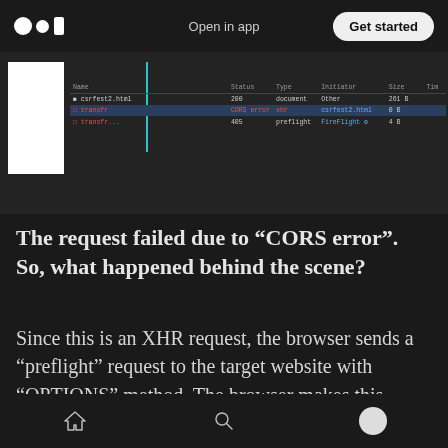Open in app  Get started
[Figure (screenshot): Browser network tab showing HTTP requests: csrfest2.html (200, document, Other, 261B), transfr (CORS error, xhr, csrfest2.html), transfr... (405, preflight, FireFlight icon)]
The request failed due to “CORS error”. So, what happened behind the scene?
Since this is an XHR request, the browser sends a “preflight” request to the target website with “OPTIONS” method. The browser makes this request to understand if the target website allows this request. How a website can allow this request? With Cross-Origin Resource Sharing
Home  Search  Profile